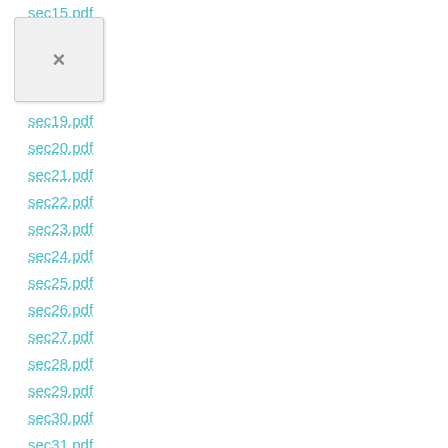sec15.pdf
sec16.pdf
sec17.pdf
sec18.pdf
sec19.pdf
sec20.pdf
sec21.pdf
sec22.pdf
sec23.pdf
sec24.pdf
sec25.pdf
sec26.pdf
sec27.pdf
sec28.pdf
sec29.pdf
sec30.pdf
sec31.pdf
tabular.pdf
telephone.pdf - Pages: 4 -